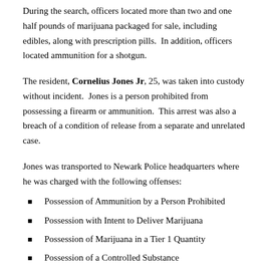During the search, officers located more than two and one half pounds of marijuana packaged for sale, including edibles, along with prescription pills. In addition, officers located ammunition for a shotgun.
The resident, Cornelius Jones Jr, 25, was taken into custody without incident. Jones is a person prohibited from possessing a firearm or ammunition. This arrest was also a breach of a condition of release from a separate and unrelated case.
Jones was transported to Newark Police headquarters where he was charged with the following offenses:
Possession of Ammunition by a Person Prohibited
Possession with Intent to Deliver Marijuana
Possession of Marijuana in a Tier 1 Quantity
Possession of a Controlled Substance